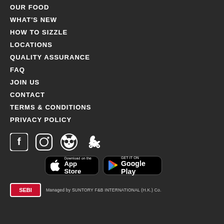OUR FOOD
WHAT'S NEW
HOW TO SIZZLE
LOCATIONS
QUALITY ASSURANCE
FAQ
JOIN US
CONTACT
TERMS & CONDITIONS
PRIVACY POLICY
[Figure (infographic): Social media icons: Facebook, Instagram, Panda (foodpanda), Deliveroo]
[Figure (infographic): App store badges: Download on the App Store and GET IT ON Google Play]
[Figure (logo): SEBI logo and text: Managed by SUNTORY F&B INTERNATIONAL (H.K.) Co.]